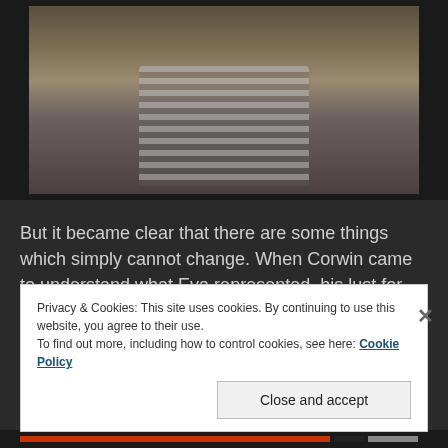[Figure (illustration): A 3D rendered or illustrated scene showing the backs of figures — one in a striped shirt, with others nearby in muted tones.]
But it became clear that there are some things which simply cannot change. When Corwin came to understand what Eva represented, his lust for wealth and power returned. Desiree begged him to remember their special night. But it was no use. She had lost him.
Privacy & Cookies: This site uses cookies. By continuing to use this website, you agree to their use.
To find out more, including how to control cookies, see here: Cookie Policy
Close and accept